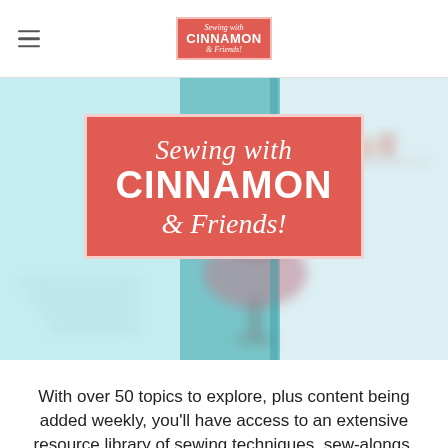Sewing with CINNAMON & Friends!
[Figure (photo): Blurred background photo of a sewing/craft room with a dress form in the center wearing a pink/gray dress, with teal/blue and white tones throughout.]
Sewing with CINNAMON & Friends!
With over 50 topics to explore, plus content being added weekly, you'll have access to an extensive resource library of sewing techniques, sew-alongs,